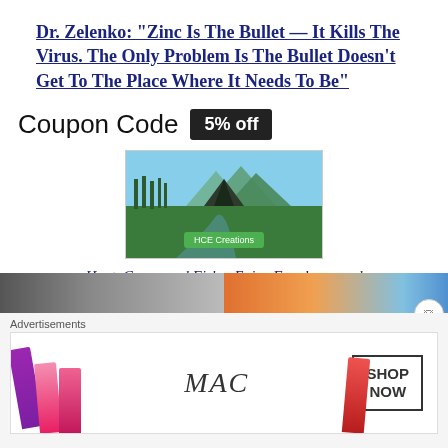Dr. Zelenko: “Zinc Is The Bullet — It Kills The Virus. The Only Problem Is The Bullet Doesn’t Get To The Place Where It Needs To Be”
Coupon Code 5% off
[Figure (photo): Mountain landscape photo with green meadow, mountains, blue sky, trees, and a green button overlay reading HCE Creations]
Hunt, Camp, and Fish – Enjoy Freedom…and support this site
[Figure (photo): Bottom strip showing two side-by-side thumbnail images, left is dark/black and white, right is colorful orange and blue]
Advertisements
[Figure (photo): MAC cosmetics advertisement showing lipsticks in various shades on the left and the MAC logo with a SHOP NOW button]